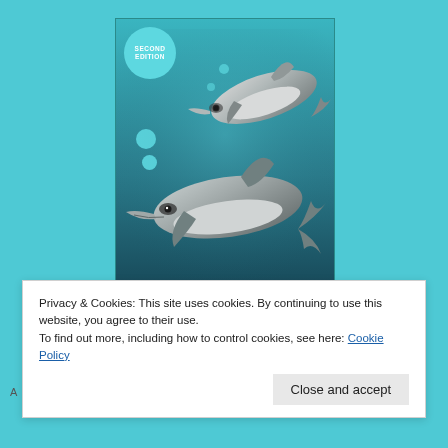[Figure (illustration): Book cover of 'The Vaquita: The Biology of an Endangered Porpoise, Second Edition' by Aidan Bodeo-Lomicky. Cover features an illustration of two vaquita porpoises swimming in teal/blue water, with a 'Second Edition' badge in a teal circle at top-left, decorative teal circles on the left side, and the title and author name at the bottom.]
Privacy & Cookies: This site uses cookies. By continuing to use this website, you agree to their use.
To find out more, including how to control cookies, see here: Cookie Policy
Close and accept